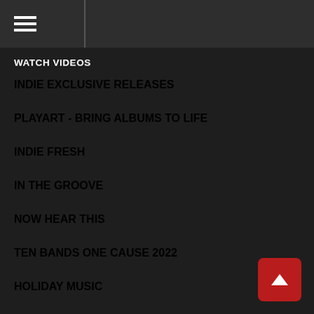Navigation menu header bar with hamburger icon
WATCH VIDEOS
INDIE EXCLUSIVE RELEASES
PLAYART - BRING ALBUMS TO LIFE
INDIE FRESH
IN THE GROOVE
NOW HEAR THIS
TEN BANDS ONE CAUSE 2022
HOLIDAY MUSIC
RECORD STORE DAY DROPS 2021 - JUNE
PUNK